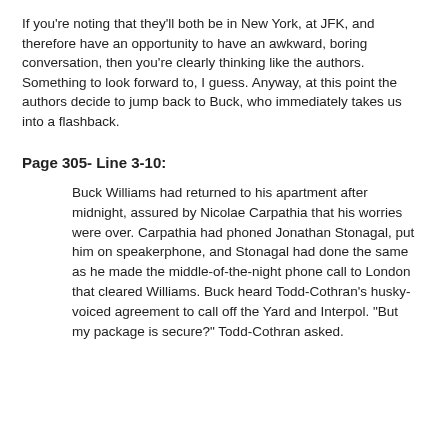If you're noting that they'll both be in New York, at JFK, and therefore have an opportunity to have an awkward, boring conversation, then you're clearly thinking like the authors. Something to look forward to, I guess. Anyway, at this point the authors decide to jump back to Buck, who immediately takes us into a flashback.
Page 305- Line 3-10:
Buck Williams had returned to his apartment after midnight, assured by Nicolae Carpathia that his worries were over. Carpathia had phoned Jonathan Stonagal, put him on speakerphone, and Stonagal had done the same as he made the middle-of-the-night phone call to London that cleared Williams. Buck heard Todd-Cothran's husky-voiced agreement to call off the Yard and Interpol. "But my package is secure?" Todd-Cothran asked.